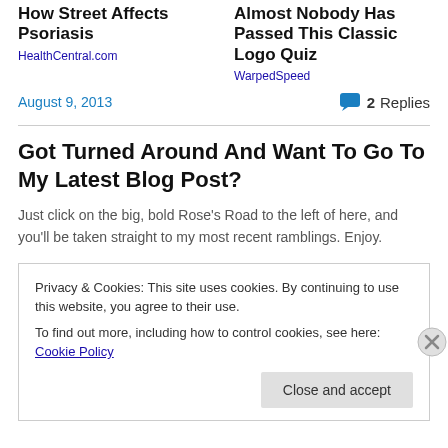How Street Affects Psoriasis
HealthCentral.com
Almost Nobody Has Passed This Classic Logo Quiz
WarpedSpeed
August 9, 2013
2 Replies
Got Turned Around And Want To Go To My Latest Blog Post?
Just click on the big, bold Rose's Road to the left of here, and you'll be taken straight to my most recent ramblings. Enjoy.
Privacy & Cookies: This site uses cookies. By continuing to use this website, you agree to their use.
To find out more, including how to control cookies, see here: Cookie Policy
Close and accept